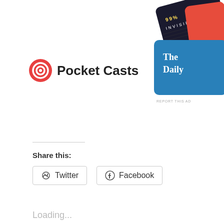[Figure (illustration): Pocket Casts app logo with red circular icon and bold text 'Pocket Casts']
[Figure (photo): Advertisement showing podcast artwork including '99% Invisible' and 'The Daily' with 'REPORT THIS AD' text]
Share this:
[Figure (other): Twitter share button]
[Figure (other): Facebook share button]
Loading...
Privacy & Cookies: This site uses cookies. By continuing to use this website, you agree to their use.
To find out more, including how to control cookies, see here: Cookie Policy
Close and accept